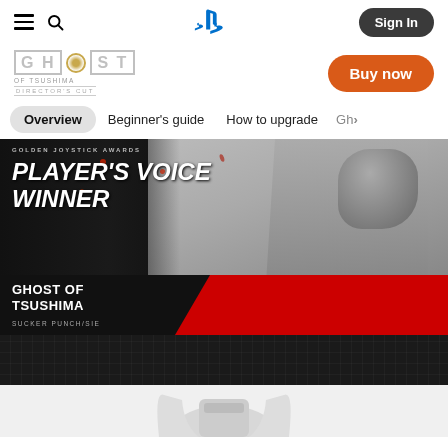PlayStation navigation bar with hamburger menu, search icon, PlayStation logo, and Sign In button
[Figure (logo): Ghost of Tsushima Director's Cut logo with stylized text]
Buy now
Overview | Beginner's guide | How to upgrade | Gh>
[Figure (photo): Ghost of Tsushima Player's Voice Winner award banner featuring a samurai warrior in armor with red accents against a grey background. Text reads: PLAYER'S VOICE WINNER / GHOST OF TSUSHIMA / SUCKER PUNCH/SIE]
[Figure (photo): Bottom portion of a PlayStation 5 console shown from above against a white/grey background]